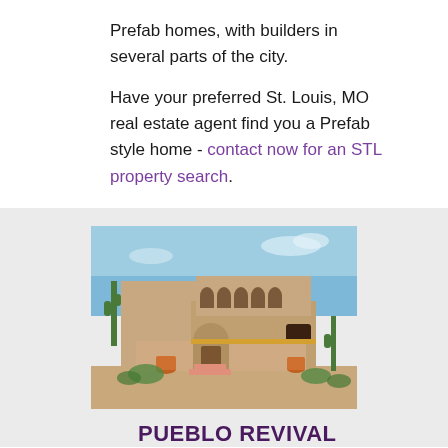Prefab homes, with builders in several parts of the city.
Have your preferred St. Louis, MO real estate agent find you a Prefab style home - contact now for an STL property search.
[Figure (photo): Exterior photo of a Pueblo Revival style home with adobe walls, arched doorways, cactus plants, and desert landscaping under a blue sky.]
PUEBLO REVIVAL